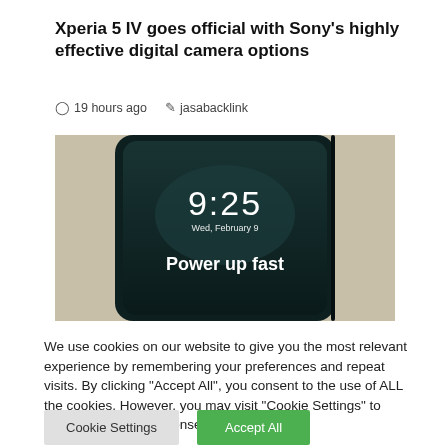Xperia 5 IV goes official with Sony's highly effective digital camera options
19 hours ago   jasabacklink
[Figure (photo): Photo of a Sony Xperia 5 IV smartphone showing lock screen with time 9:25, date Wed, February 9, and text 'Power up fast']
We use cookies on our website to give you the most relevant experience by remembering your preferences and repeat visits. By clicking "Accept All", you consent to the use of ALL the cookies. However, you may visit "Cookie Settings" to provide a controlled consent.
Cookie Settings   Accept All